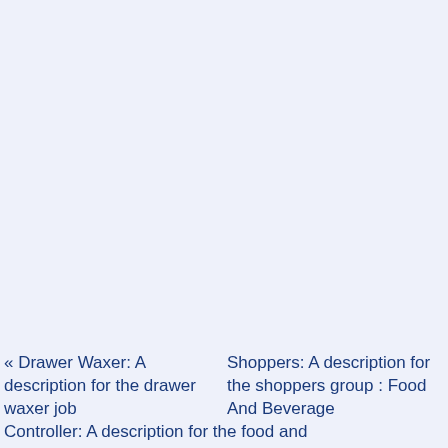« Drawer Waxer: A description for the drawer waxer job   Shoppers: A description for the shoppers group : Food And Beverage Controller: A description for the food and